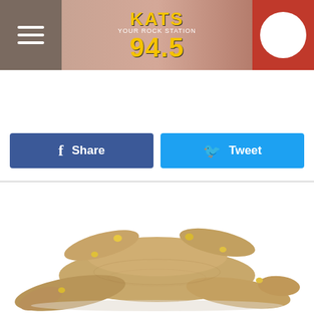[Figure (screenshot): KATS 94.5 radio station website header with logo, hamburger menu icon, and play button]
LISTEN NOW  LOUDWIRE WEEKENDS
[Figure (screenshot): Facebook Share button and Twitter Tweet button]
YOU MAY LIKE   SPONSORED LINKS
[Figure (photo): Fresh ginger root pieces on white background]